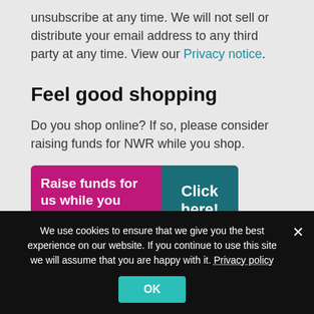unsubscribe at any time. We will not sell or distribute your email address to any third party at any time. View our Privacy notice.
Feel good shopping
Do you shop online? If so, please consider raising funds for NWR while you shop.
[Figure (infographic): Banner with pink left section reading 'Raise funds for us while you shop' and teal right section reading 'Click here!']
We use cookies to ensure that we give you the best experience on our website. If you continue to use this site we will assume that you are happy with it. Privacy policy
OK